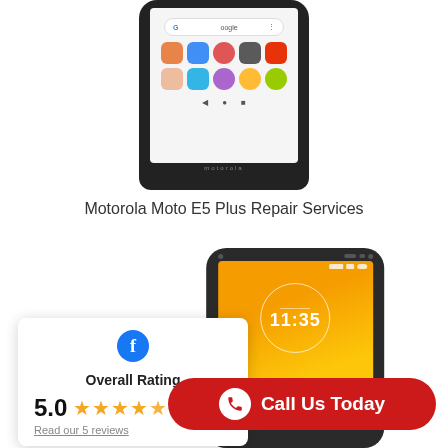[Figure (photo): Motorola Moto E5 smartphone showing home screen with Google search bar and app icons]
Motorola Moto E5 Plus Repair Services
[Figure (photo): Motorola Moto E5 Plus smartphone showing lock screen with 11:35 time on orange wallpaper]
[Figure (infographic): Facebook rating card showing Overall Rating 5.0 with 5 stars and 'Read our 5 reviews' link]
Call Us Today